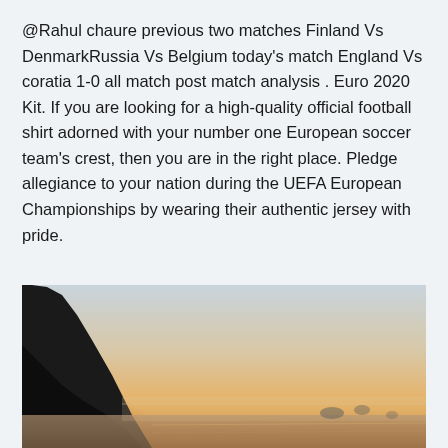@Rahul chaure previous two matches Finland Vs DenmarkRussia Vs Belgium today's match England Vs coratia 1-0 all match post match analysis . Euro 2020 Kit. If you are looking for a high-quality official football shirt adorned with your number one European soccer team's crest, then you are in the right place. Pledge allegiance to your nation during the UEFA European Championships by wearing their authentic jersey with pride.
[Figure (photo): A coastal landscape photo at sunset or sunrise, showing a large dark rocky cliff or headland on the left, with warm golden-orange and pale sky tones, misty ocean waves, and small rock formations visible in the distance.]